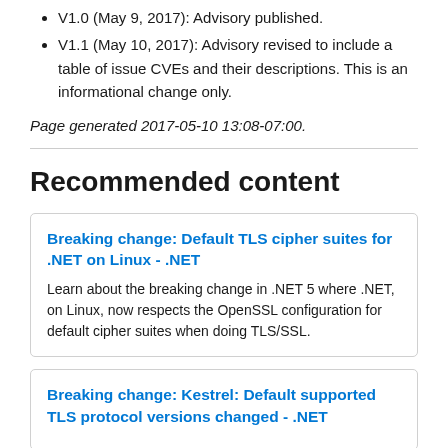V1.0 (May 9, 2017): Advisory published.
V1.1 (May 10, 2017): Advisory revised to include a table of issue CVEs and their descriptions. This is an informational change only.
Page generated 2017-05-10 13:08-07:00.
Recommended content
Breaking change: Default TLS cipher suites for .NET on Linux - .NET
Learn about the breaking change in .NET 5 where .NET, on Linux, now respects the OpenSSL configuration for default cipher suites when doing TLS/SSL.
Breaking change: Kestrel: Default supported TLS protocol versions changed - .NET